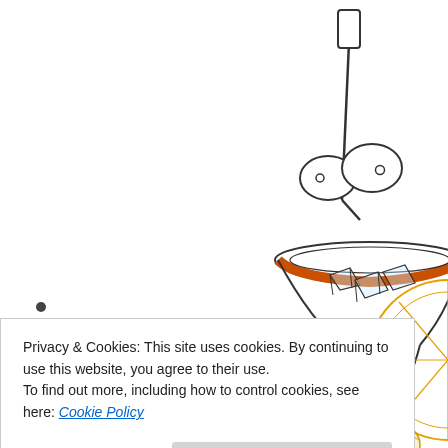[Figure (illustration): Hand-drawn illustration of a cocktail drink in a glass/bowl with olives on a cocktail pick, ice cubes, and a citrus wheel slice. The bowl has an orange/red decorative band. The drawing style is sketch-like with colored pencil accents.]
Privacy & Cookies: This site uses cookies. By continuing to use this website, you agree to their use.
To find out more, including how to control cookies, see here: Cookie Policy
Close and accept